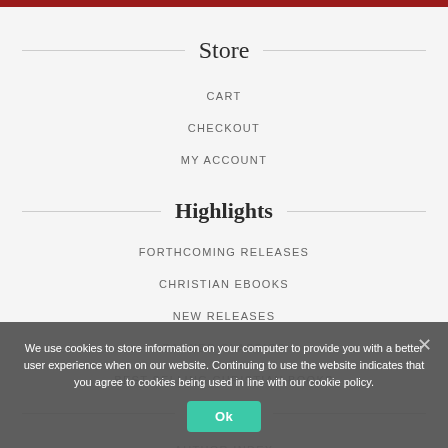Store
CART
CHECKOUT
MY ACCOUNT
Highlights
FORTHCOMING RELEASES
CHRISTIAN EBOOKS
NEW RELEASES
BANNER CLASSICS
BEST SELLING CHRISTIAN BOOKS
Browse
AUTHOR INDEX
DATE INDEX
We use cookies to store information on your computer to provide you with a better user experience when on our website. Continuing to use the website indicates that you agree to cookies being used in line with our cookie policy.